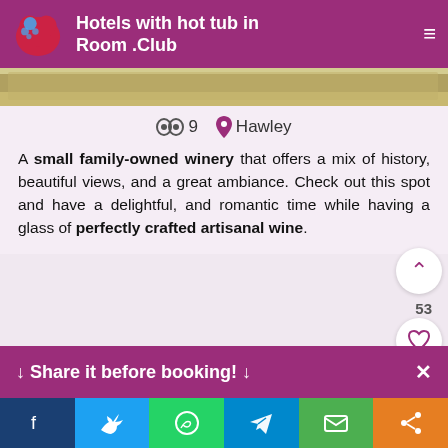Hotels with hot tub in Room .Club
[Figure (photo): Outdoor photo strip showing landscape with ground and sky]
9   Hawley
A small family-owned winery that offers a mix of history, beautiful views, and a great ambiance. Check out this spot and have a delightful, and romantic time while having a glass of perfectly crafted artisanal wine.
Lacawac Sanctuary
[Figure (photo): Blue sky with clouds photo for Lacawac Sanctuary]
↓ Share it before booking! ↓